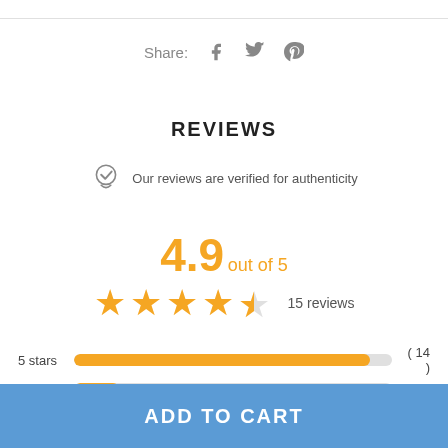Share:  f  🐦  P
REVIEWS
Our reviews are verified for authenticity
4.9 out of 5
★★★★☆  15 reviews
5 stars (14)
4 stars (1)
ADD TO CART